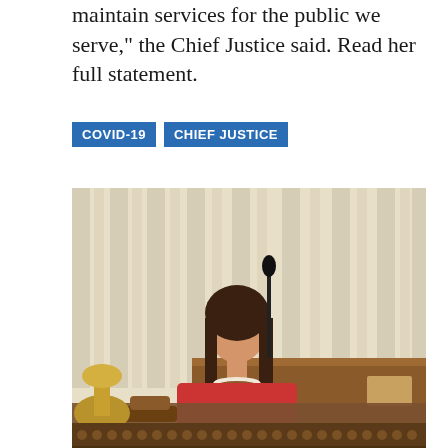maintain services for the public we serve," the Chief Justice said. Read her full statement.
COVID-19
CHIEF JUSTICE
[Figure (photo): A woman wearing a red dress and pearl necklace stands at a wooden podium with a microphone, speaking. In the foreground is a gavel and ornate golden stand. The background has cream-colored curtains.]